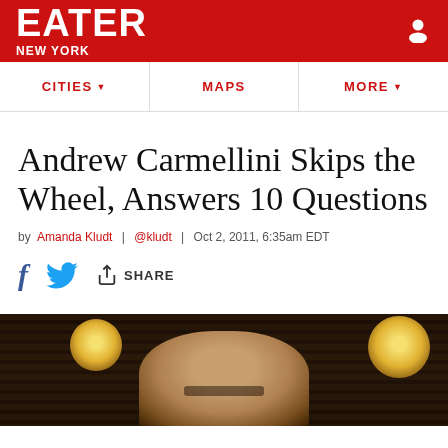EATER NEW YORK
CITIES | MAPS | MORE
Andrew Carmellini Skips the Wheel, Answers 10 Questions
by Amanda Kludt | @kludt | Oct 2, 2011, 6:35am EDT
SHARE
[Figure (photo): Photo of a man with glasses in a dark restaurant setting with round pendant lights overhead]